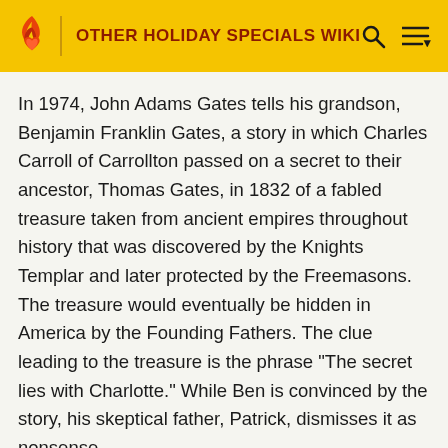OTHER HOLIDAY SPECIALS WIKI
In 1974, John Adams Gates tells his grandson, Benjamin Franklin Gates, a story in which Charles Carroll of Carrollton passed on a secret to their ancestor, Thomas Gates, in 1832 of a fabled treasure taken from ancient empires throughout history that was discovered by the Knights Templar and later protected by the Freemasons. The treasure would eventually be hidden in America by the Founding Fathers. The clue leading to the treasure is the phrase "The secret lies with Charlotte." While Ben is convinced by the story, his skeptical father, Patrick, dismisses it as nonsense.
Thirty years later, Ben has grown to become a historian, cryptologist, and treasure hunter, and leads an expedition